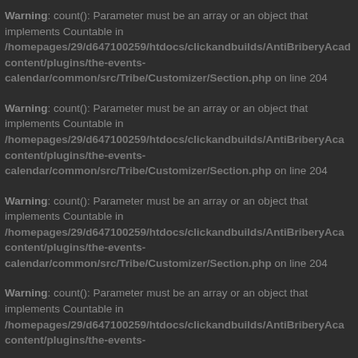Warning: count(): Parameter must be an array or an object that implements Countable in /homepages/29/d647100259/htdocs/clickandbuilds/AntiBriberyAcademy/wp-content/plugins/the-events-calendar/common/src/Tribe/Customizer/Section.php on line 204
Warning: count(): Parameter must be an array or an object that implements Countable in /homepages/29/d647100259/htdocs/clickandbuilds/AntiBriberyAcademy/wp-content/plugins/the-events-calendar/common/src/Tribe/Customizer/Section.php on line 204
Warning: count(): Parameter must be an array or an object that implements Countable in /homepages/29/d647100259/htdocs/clickandbuilds/AntiBriberyAcademy/wp-content/plugins/the-events-calendar/common/src/Tribe/Customizer/Section.php on line 204
Warning: count(): Parameter must be an array or an object that implements Countable in /homepages/29/d647100259/htdocs/clickandbuilds/AntiBriberyAcademy/wp-content/plugins/the-events-calendar/common/src/Tribe/Customizer/Section.php on line 204